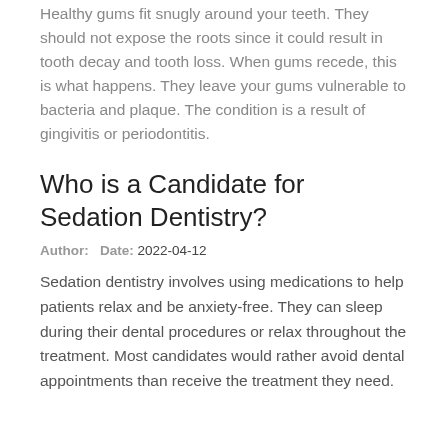Healthy gums fit snugly around your teeth. They should not expose the roots since it could result in tooth decay and tooth loss. When gums recede, this is what happens. They leave your gums vulnerable to bacteria and plaque. The condition is a result of gingivitis or periodontitis.
Who is a Candidate for Sedation Dentistry?
Author:  Date: 2022-04-12
Sedation dentistry involves using medications to help patients relax and be anxiety-free. They can sleep during their dental procedures or relax throughout the treatment. Most candidates would rather avoid dental appointments than receive the treatment they need.